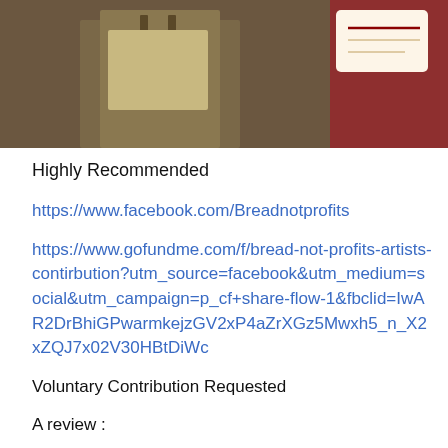[Figure (photo): Top portion of a page showing a historical photo of a person in suspenders, partially cropped, with a card overlay with a red horizontal line, and a dark red block on the right side.]
Highly Recommended
https://www.facebook.com/Breadnotprofits
https://www.gofundme.com/f/bread-not-profits-artists-contirbution?utm_source=facebook&utm_medium=social&utm_campaign=p_cf+share-flow-1&fbclid=IwAR2DrBhiGPwarmkejzGV2xP4aZrXGz5Mwxh5_n_X2xZQJ7x02V30HBtDiWc
Voluntary Contribution Requested
A review :
Shakespeare used his history plays to explore issues